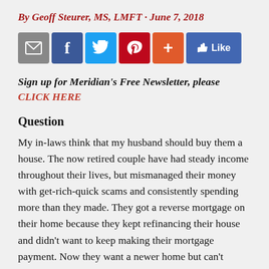By Geoff Steurer, MS, LMFT · June 7, 2018
[Figure (infographic): Social sharing buttons: email (grey), Facebook (blue), Twitter (light blue), Pinterest (red), more/plus (orange), and Facebook Like button (blue)]
Sign up for Meridian's Free Newsletter, please CLICK HERE
Question
My in-laws think that my husband should buy them a house. The now retired couple have had steady income throughout their lives, but mismanaged their money with get-rich-quick scams and consistently spending more than they made. They got a reverse mortgage on their home because they kept refinancing their house and didn't want to keep making their mortgage payment. Now they want a newer home but can't